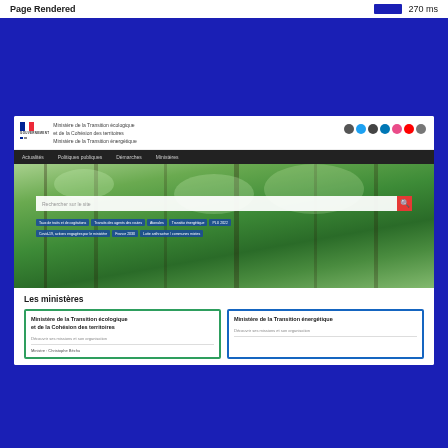Page Rendered   270 ms
[Figure (screenshot): Screenshot of the French government website for the Ministère de la Transition écologique et de la Cohésion des territoires / Ministère de la Transition énergétique. Shows the site header with logo, ministry name, social icons, navigation bar (Actualités, Politiques publiques, Démarches, Ministères), a hero banner with forest/trees background and a search bar reading 'Rechercher sur le site', keyword tags, and below the hero a 'Les ministères' section with two bordered cards: one green for 'Ministère de la Transition écologique et de la Cohésion des territoires' and one blue for 'Ministère de la Transition énergétique'.]